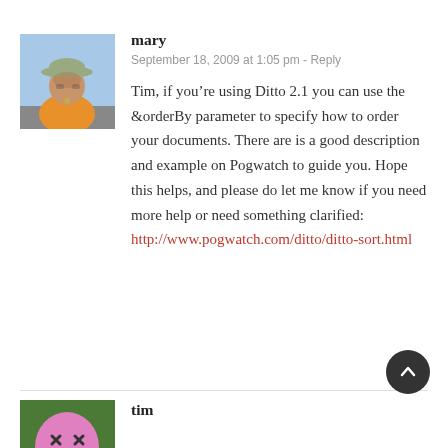[Figure (photo): Profile photo of user 'mary' - person wearing a wide-brimmed hat outdoors]
mary
September 18, 2009 at 1:05 pm - Reply
Tim, if you’re using Ditto 2.1 you can use the &orderBy parameter to specify how to order your documents. There are is a good description and example on Pogwatch to guide you. Hope this helps, and please do let me know if you need more help or need something clarified: http://www.pogwatch.com/ditto/ditto-sort.html
[Figure (photo): Profile avatar of user 'tim' - illustrated character with pink face and X eyes on green background]
tim